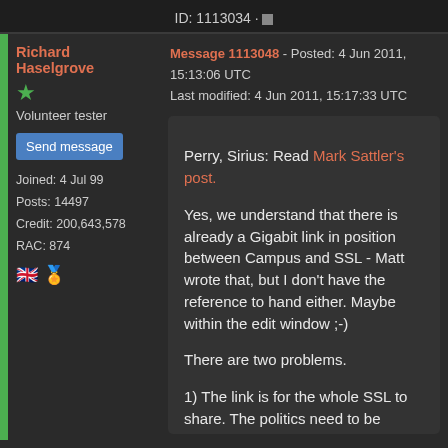ID: 1113034 · ▪
Richard Haselgrove
★
Volunteer tester
Send message
Joined: 4 Jul 99
Posts: 14497
Credit: 200,643,578
RAC: 874
Message 1113048 - Posted: 4 Jun 2011, 15:13:06 UTC
Last modified: 4 Jun 2011, 15:17:33 UTC
Perry, Sirius: Read Mark Sattler's post.

Yes, we understand that there is already a Gigabit link in position between Campus and SSL - Matt wrote that, but I don't have the reference to hand either. Maybe within the edit window ;-)

There are two problems.

1) The link is for the whole SSL to share. The politics need to be sorted out before SETI can borrow